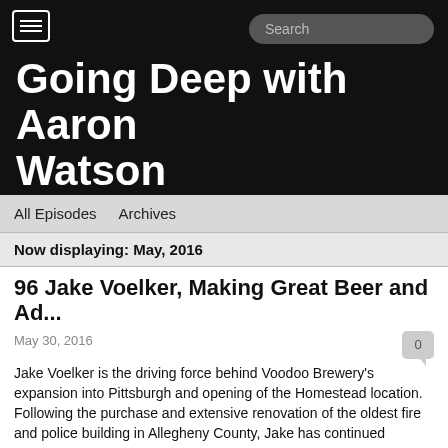Going Deep with Aaron Watson
All Episodes
Archives
Now displaying: May, 2016
96 Jake Voelker, Making Great Beer and Ad...
May 30, 2016
Jake Voelker is the driving force behind Voodoo Brewery's expansion into Pittsburgh and opening of the Homestead location. Following the purchase and extensive renovation of the oldest fire and police building in Allegheny County, Jake has continued expanding Voodoo's visibility, market share, and profitability in the Pittsburgh area market while providing oversight of Voelker Contracting's operations. Voelker Contracting is a Service Disabled Veteran Owned Company that maintains contracts with the National Cemetery of the Alleghenies and various other private companies.